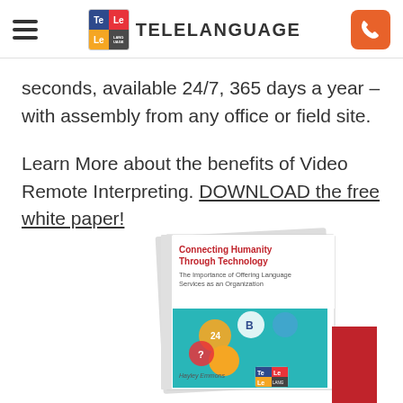TELELANGUAGE
seconds, available 24/7, 365 days a year – with assembly from any office or field site.
Learn More about the benefits of Video Remote Interpreting. DOWNLOAD the free white paper!
[Figure (photo): Book titled 'Connecting Humanity Through Technology: The Importance of Offering Language Services as an Organization' by Hayley Emmons, with telelanguage logo at bottom, displayed at an angle.]